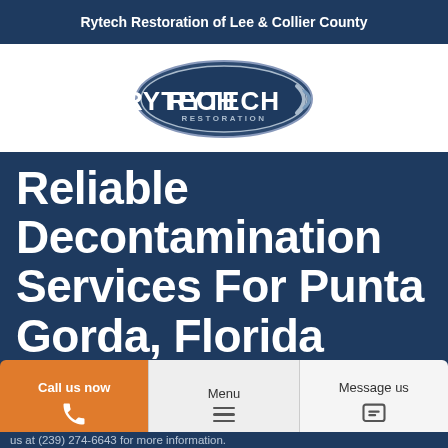Rytech Restoration of Lee & Collier County
[Figure (logo): Rytech Restoration logo — oval shaped logo with 'RYTECH' in large bold letters and 'RESTORATION' below, with a swoosh/check mark element, in dark navy blue and grey tones.]
Reliable Decontamination Services For Punta Gorda, Florida
Call us now
Menu
Message us
us at (239) 274-6643 for more information.